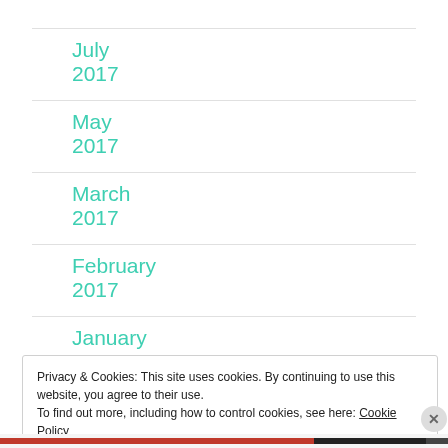July 2017
May 2017
March 2017
February 2017
January 2017
Privacy & Cookies: This site uses cookies. By continuing to use this website, you agree to their use.
To find out more, including how to control cookies, see here: Cookie Policy
Close and accept